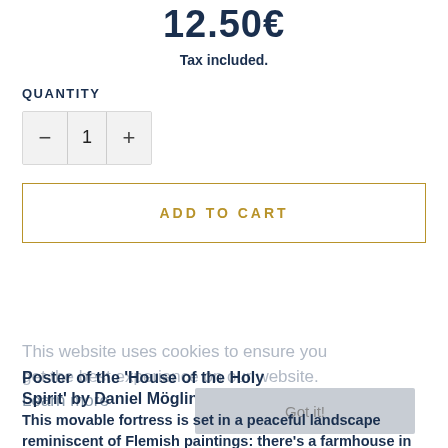12.50€
Tax included.
QUANTITY
− 1 +
ADD TO CART
This website uses cookies to ensure you get the best experience on our website.
Learn more
Poster of the 'House of the Holy Spirit' by Daniel Mögling
Got it!
This movable fortress is set in a peaceful landscape reminiscent of Flemish paintings: there's a farmhouse in the foreground on the left, a church in the background